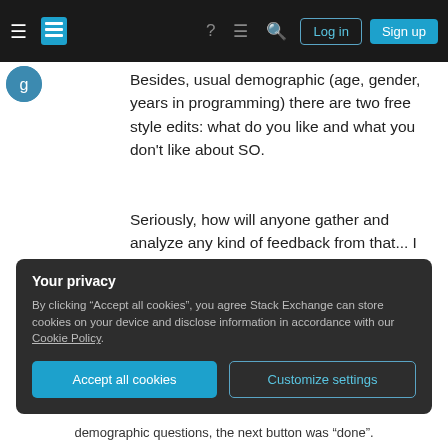Stack Exchange navigation bar with Log in and Sign up buttons
Besides, usual demographic (age, gender, years in programming) there are two free style edits: what do you like and what you don't like about SO.
Seriously, how will anyone gather and analyze any kind of feedback from that... I have no idea.
Real feedback would be listing all planned changes and asking us what we think about them. It seems that seeking community feedback is just pretense and The Loop is not even trying to hide that.
Your privacy
By clicking “Accept all cookies”, you agree Stack Exchange can store cookies on your device and disclose information in accordance with our Cookie Policy.
demographic questions, the next button was “done”.